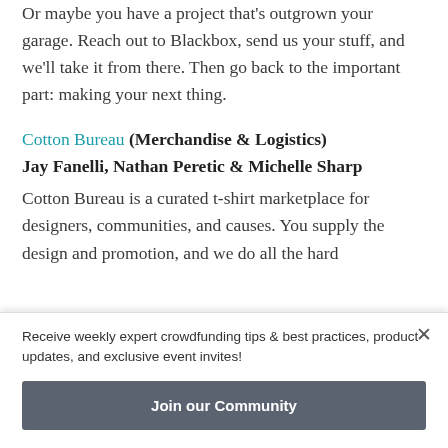Or maybe you have a project that's outgrown your garage. Reach out to Blackbox, send us your stuff, and we'll take it from there. Then go back to the important part: making your next thing.
Cotton Bureau (Merchandise & Logistics) Jay Fanelli, Nathan Peretic & Michelle Sharp
Cotton Bureau is a curated t-shirt marketplace for designers, communities, and causes. You supply the design and promotion, and we do all the hard
Receive weekly expert crowdfunding tips & best practices, product updates, and exclusive event invites!
Join our Community